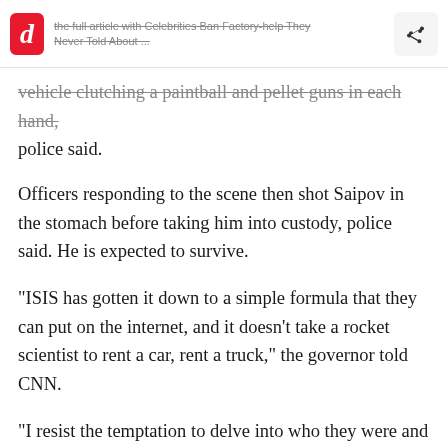[d] ... the full article with Celebrities Ban Factory-help They Never Told About ...
vehicle clutching a paintball and pellet guns in each hand, police said.
Officers responding to the scene then shot Saipov in the stomach before taking him into custody, police said. He is expected to survive.
"ISIS has gotten it down to a simple formula that they can put on the internet, and it doesn't take a rocket scientist to rent a car, rent a truck," the governor told CNN.
"I resist the temptation to delve into who they were and why," he added. "We know why. They hate America. And New York is a target, let's be honest."
Cuomo added that Saipov has had several run-ins with law